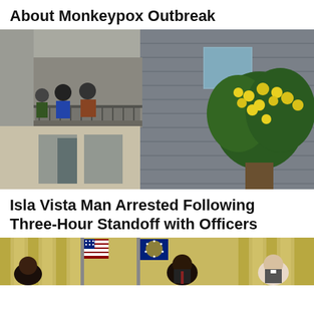About Monkeypox Outbreak
[Figure (photo): People standing on an apartment balcony, viewed from outside. A modern multi-story building with gray siding and a flowering yellow tree in the foreground.]
Isla Vista Man Arrested Following Three-Hour Standoff with Officers
[Figure (photo): People seated at a formal event or ceremony, with American flags and decorative curtains in the background.]